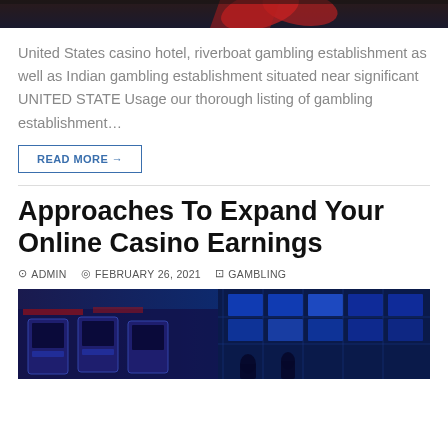[Figure (photo): Top portion of a casino/cards themed image, dark background with playing cards visible]
United States casino hotel, riverboat gambling establishment as well as Indian gambling establishment situated near significant UNITED STATE Usage our thorough listing of gambling establishment…
READ MORE →
Approaches To Expand Your Online Casino Earnings
ADMIN   FEBRUARY 26, 2021   GAMBLING
[Figure (photo): Casino interior with blue lighting, slot machines and gaming floor visible]